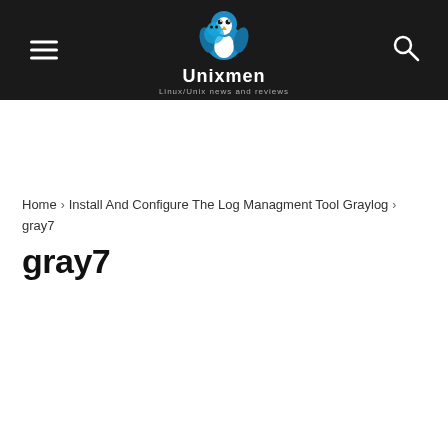Unixmen — Linux/Unix news and reviews
Home › Install And Configure The Log Managment Tool Graylog › gray7
gray7